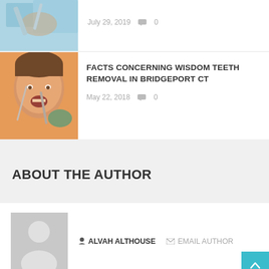July 29, 2019  💬 0
[Figure (photo): Dental patient receiving dental procedure, top partial view]
[Figure (photo): Young woman receiving dental procedure with dentist tools in mouth]
FACTS CONCERNING WISDOM TEETH REMOVAL IN BRIDGEPORT CT
May 22, 2018  💬 0
ABOUT THE AUTHOR
[Figure (illustration): Generic user avatar placeholder silhouette on grey background]
ALVAH ALTHOUSE
EMAIL AUTHOR